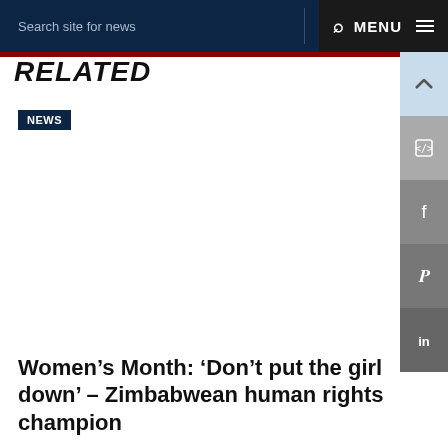Search site for news  MENU
RELATED
NEWS
Women’s Month: ‘Don’t put the girl down’ – Zimbabwean human rights champion